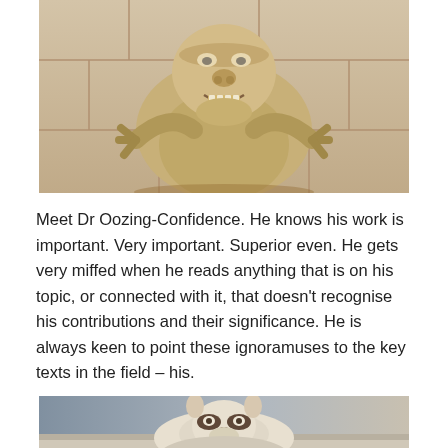[Figure (photo): A stone gargoyle sculpture on a building facade, appearing to crouch and lean forward with a grimacing face, clawed hands visible on either side.]
Meet Dr Oozing-Confidence. He knows his work is important. Very important. Superior even. He gets very miffed when he reads anything that is on his topic, or connected with it, that doesn't recognise his contributions and their significance. He is always keen to point these ignoramuses to the key texts in the field – his.
[Figure (photo): A second stone sculpture or carving, partially visible, appearing to show a crouching animal-like figure on a building ledge.]